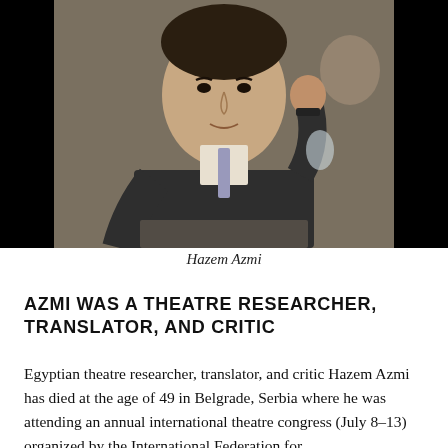[Figure (photo): Portrait photo of Hazem Azmi, a man in a dark suit with a striped tie, raising his right hand, seated at what appears to be a conference table. The photo has black borders on the sides.]
Hazem Azmi
AZMI WAS A THEATRE RESEARCHER, TRANSLATOR, AND CRITIC
Egyptian theatre researcher, translator, and critic Hazem Azmi has died at the age of 49 in Belgrade, Serbia where he was attending an annual international theatre congress (July 8–13) organized by the International Federation for